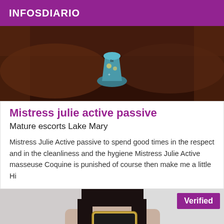INFOSDIARIO
[Figure (photo): Close-up dark photo showing hands and a small decorative bottle/object with teal and illustrated designs.]
Mistress julie active passive
Mature escorts Lake Mary
Mistress Julie Active passive to spend good times in the respect and in the cleanliness and the hygiene Mistress Julie Active masseuse Coquine is punished of course then make me a little Hi
[Figure (photo): Photo of a person with dark hair holding a gold-colored smartphone (Samsung) in front of their face in a mirror selfie. A purple 'Verified' badge appears in the top right corner.]